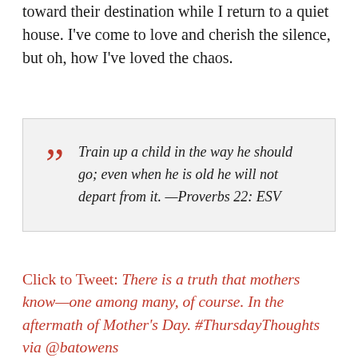toward their destination while I return to a quiet house. I've come to love and cherish the silence, but oh, how I've loved the chaos.
Train up a child in the way he should go; even when he is old he will not depart from it. —Proverbs 22: ESV
Click to Tweet: There is a truth that mothers know—one among many, of course. In the aftermath of Mother's Day. #ThursdayThoughts via @batowens